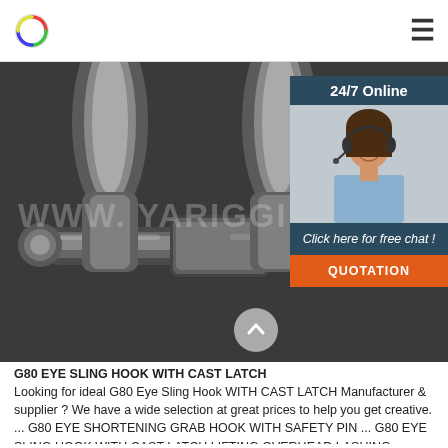www.yukairigging.com [logo and hamburger menu]
[Figure (photo): Close-up photo of a stainless steel G80 eye sling hook / shackle, polished chrome finish, showing the pin and body detail. Watermark text 'WWW.YUKAIRIGGING' visible across image. Overlay chat widget in top-right with '24/7 Online' header, photo of female customer service agent with headset, 'Click here for free chat!' text, and orange 'QUOTATION' button.]
G80 EYE SLING HOOK WITH CAST LATCH Looking for ideal G80 Eye Sling Hook WITH CAST LATCH Manufacturer & supplier ? We have a wide selection at great prices to help you get creative. ... G80 EYE SHORTENING GRAB HOOK WITH SAFETY PIN ... G80 EYE SLING HOOK WITH CAST LATCH LIFTING OVERHEAD LASHING crane hook weight double